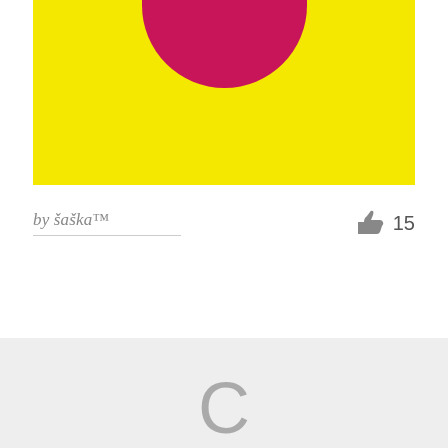[Figure (illustration): Yellow banner with partial pink/magenta circle visible at top center, cropped at top edge]
by šaška™
15
[Figure (other): Gray loading panel with a large gray letter C representing a loading spinner in the center]